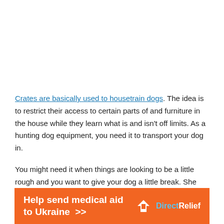Crates are basically used to housetrain dogs. The idea is to restrict their access to certain parts of and furniture in the house while they learn what is and isn't off limits. As a hunting dog equipment, you need it to transport your dog in.
You might need it when things are looking to be a little rough and you want to give your dog a little break. She just needs to hop in while you tote her around like a good parent (when you are not hunting, that is).
[Figure (infographic): Orange advertisement banner reading 'Help send medical aid to Ukraine >>' with Direct Relief logo on the right]